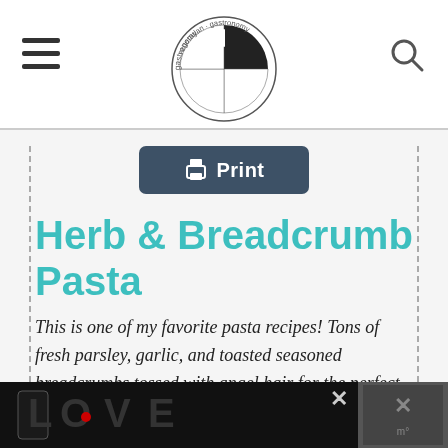[Figure (logo): Vegetarian Gastronomy circular logo with fork/spoon/knife icon and text around the border]
Print
Herb & Breadcrumb Pasta
This is one of my favorite pasta recipes! Tons of fresh parsley, garlic, and toasted seasoned breadcrumbs tossed with angel hair for the perfect dry pasta recipe! Serve warm or cold for your next picnic!
Prep Time
[Figure (photo): Advertisement banner at bottom of page showing decorative LOVE text art]